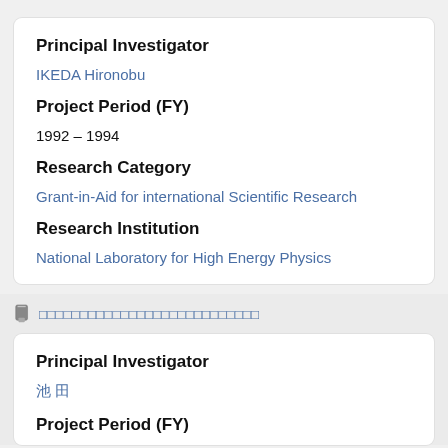Principal Investigator
IKEDA Hironobu
Project Period (FY)
1992 – 1994
Research Category
Grant-in-Aid for international Scientific Research
Research Institution
National Laboratory for High Energy Physics
□□□□□□□□□□□□□□□□□□□□□□□□□□□
Principal Investigator
池 田
Project Period (FY)